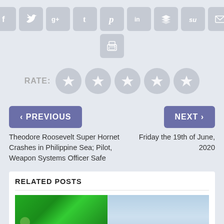[Figure (other): Row of social sharing icon buttons: Facebook, Twitter, Google+, Tumblr, Pinterest, LinkedIn, Buffer, StumbleUpon, Email]
[Figure (other): Print icon button]
RATE:
[Figure (other): Five gray star rating circles]
< PREVIOUS
NEXT >
Theodore Roosevelt Super Hornet Crashes in Philippine Sea; Pilot, Weapon Systems Officer Safe
Friday the 19th of June, 2020
RELATED POSTS
[Figure (photo): Two side-by-side thumbnail photos: left shows a green surface with mechanical parts, right shows a light blue sky or water surface]